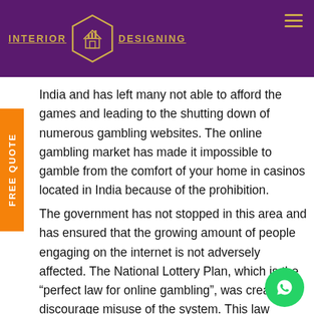INTERIOR DESIGNING
India and has left many not able to afford the games and leading to the shutting down of numerous gambling websites. The online gambling market has made it impossible to gamble from the comfort of your home in casinos located in India because of the prohibition.
The government has not stopped in this area and has ensured that the growing amount of people engaging on the internet is not adversely affected. The National Lottery Plan, which is the “perfect law for online gambling”, was created to discourage misuse of the system. This law ensures that only experts are permitted to use the machines. The machines will be programmed...